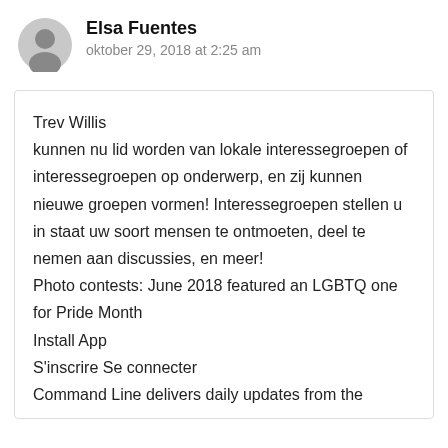[Figure (illustration): Gray circular user avatar icon (silhouette of a person)]
Elsa Fuentes
oktober 29, 2018 at 2:25 am
Trev Willis
kunnen nu lid worden van lokale interessegroepen of interessegroepen op onderwerp, en zij kunnen nieuwe groepen vormen! Interessegroepen stellen u in staat uw soort mensen te ontmoeten, deel te nemen aan discussies, en meer!
Photo contests: June 2018 featured an LGBTQ one for Pride Month
Install App
S'inscrire Se connecter
Command Line delivers daily updates from the